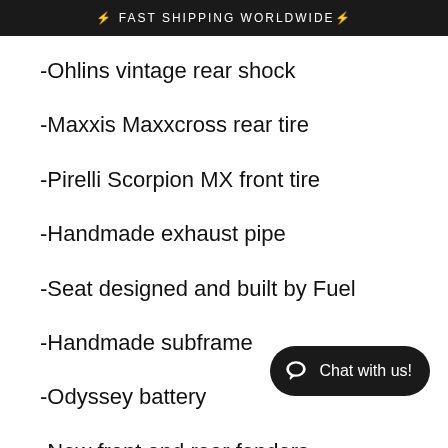⚡ FAST SHIPPING WORLDWIDE⚡
-Ohlins vintage rear shock
-Maxxis Maxxcross rear tire
-Pirelli Scorpion MX front tire
-Handmade exhaust pipe
-Seat designed and built by Fuel
-Handmade subframe
-Odyssey battery
-New front and rear fenders